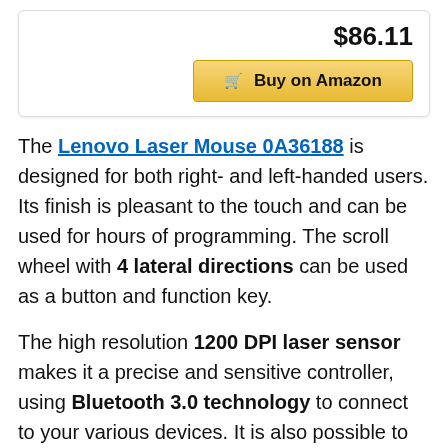$86.11
🛒 Buy on Amazon
The Lenovo Laser Mouse 0A36188 is designed for both right- and left-handed users. Its finish is pleasant to the touch and can be used for hours of programming. The scroll wheel with 4 lateral directions can be used as a button and function key.
The high resolution 1200 DPI laser sensor makes it a precise and sensitive controller, using Bluetooth 3.0 technology to connect to your various devices. It is also possible to use a small